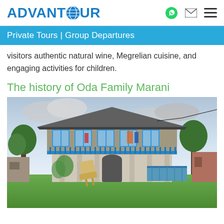ADVANTOUR | Private Tours | Group Departures
visitors authentic natural wine, Megrelian cuisine, and engaging activities for children.
The history of Oda Family Marani
[Figure (photo): A traditional two-story Georgian wooden house with blue balcony railings and columns, surrounded by green lawn and trees, with a wooden deck chair on the grass and blue ramp structure.]